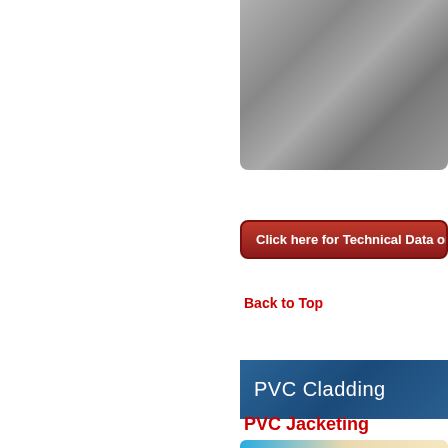[Figure (photo): Metallic/stainless steel surface texture photo, partially cropped, shown in upper right area]
Click here for Technical Data on t
Back to Top
PVC Cladding
PVC Jacketing
[Figure (photo): Bottom portion of a photo showing PVC Jacketing material in blue and beige tones]